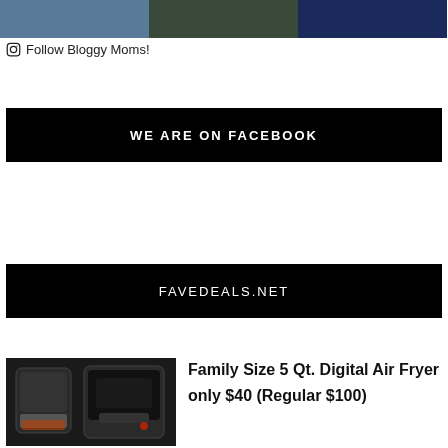[Figure (photo): Three Instagram photos in a horizontal strip at the top of the page]
⊙ Follow Bloggy Moms!
WE ARE ON FACEBOOK
FAVEDEALS.NET
[Figure (photo): Product image of a Family Size 5 Qt. Digital Air Fryer (black), two angles shown side by side]
Family Size 5 Qt. Digital Air Fryer only $40 (Regular $100)